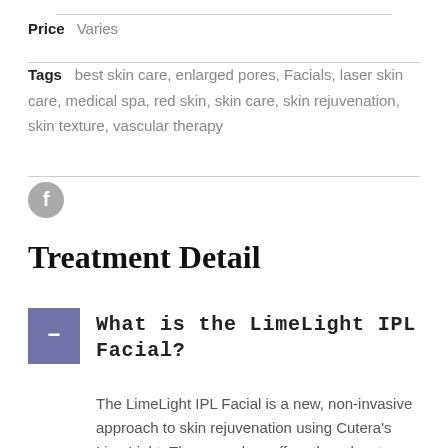Price   Varies
Tags   best skin care, enlarged pores, Facials, laser skin care, medical spa, red skin, skin care, skin rejuvenation, skin texture, vascular therapy
[Figure (logo): Facebook icon - grey circle with white f letter]
Treatment Detail
What is the LimeLight IPL Facial?
The LimeLight IPL Facial is a new, non-invasive approach to skin rejuvenation using Cutera's LimeLight. The procedure offers the advantage of